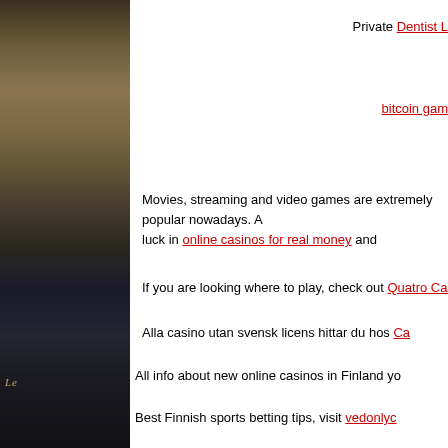[Figure (photo): Dark toned sidebar image showing a waterfront or dock scene, partially obscured, with faint text overlay reading 'Le']
Private Dentist L...
bitcoin gam...
Movies, streaming and video games are extremely popular nowadays. A... luck in online casinos for real money and...
If you are looking where to play, check out Quatro Casino C...
Alla casino utan svensk licens hittar du hos Ca...
All info about new online casinos in Finland yo...
Best Finnish sports betting tips, visit vedonlyc...
For the top swedish casinos visit c...
Finn de nettcasino hos...
Finden Sie das beste casinos ohne a...
Löydä paras nettic...